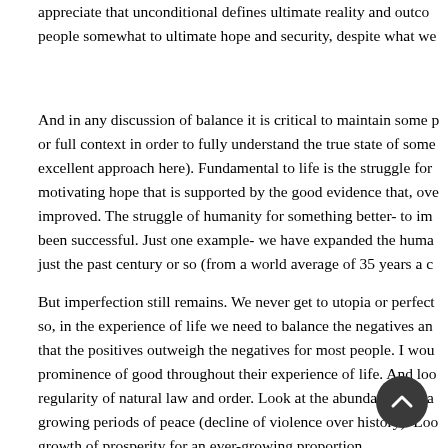appreciate that unconditional defines ultimate reality and outco people somewhat to ultimate hope and security, despite what we
And in any discussion of balance it is critical to maintain some or full context in order to fully understand the true state of some excellent approach here). Fundamental to life is the struggle for motivating hope that is supported by the good evidence that, ove improved. The struggle of humanity for something better- to im been successful. Just one example- we have expanded the huma just the past century or so (from a world average of 35 years a c
But imperfection still remains. We never get to utopia or perfect so, in the experience of life we need to balance the negatives an that the positives outweigh the negatives for most people. I wou prominence of good throughout their experience of life. And loo regularity of natural law and order. Look at the abundance of ba growing periods of peace (decline of violence over history). Loo growth of prosperity for an ever-growing proportion of hum better behind all.